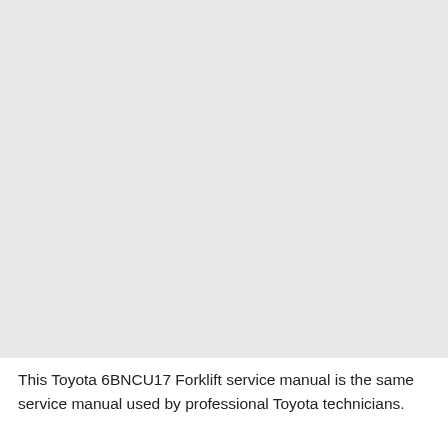[Figure (other): Large blank/empty gray image area occupying the upper portion of the page, representing a placeholder or image region from the Toyota 6BNCU17 Forklift service manual.]
This Toyota 6BNCU17 Forklift service manual is the same service manual used by professional Toyota technicians.